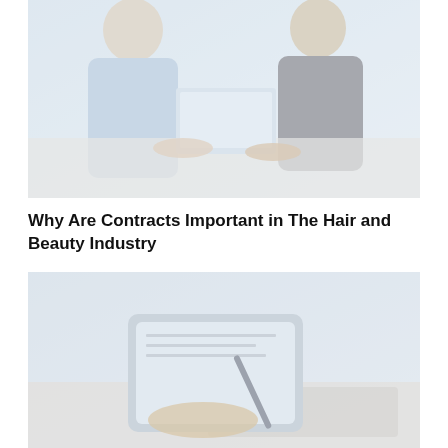[Figure (photo): Two women sitting at a table in a business meeting setting, with a laptop open in front of them. The image has a light, washed-out appearance.]
Why Are Contracts Important in The Hair and Beauty Industry
[Figure (photo): A person holding a tablet device with a stylus pen, appearing to sign or write on a digital document. A keyboard is visible in the background. The image has a light, washed-out appearance.]